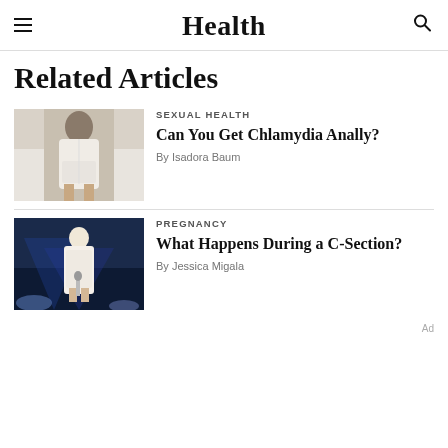Health
Related Articles
[Figure (photo): Person wearing white clothing, viewed from behind, sitting on a bed]
SEXUAL HEALTH
Can You Get Chlamydia Anally?
By Isadora Baum
[Figure (photo): Person in white lace outfit performing on stage with blue lighting]
PREGNANCY
What Happens During a C-Section?
By Jessica Migala